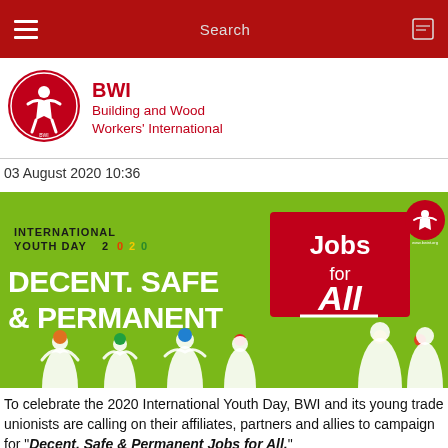Search
[Figure (logo): BWI Building and Wood Workers' International circular logo in red and white]
BWI
Building and Wood Workers' International
03 August 2020 10:36
[Figure (illustration): International Youth Day 2020 campaign banner with green background. Text reads: INTERNATIONAL YOUTH DAY 2020, DECENT. SAFE & PERMANENT, Jobs for All. White silhouettes of youth with raised fists. Red box with 'Jobs for All' text. BWI logo in top right.]
To celebrate the 2020 International Youth Day, BWI and its young trade unionists are calling on their affiliates, partners and allies to campaign for "Decent, Safe & Permanent Jobs for All."